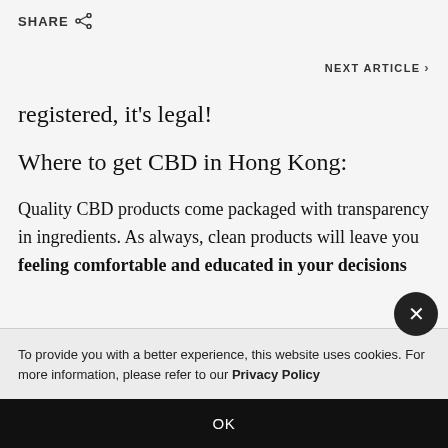SHARE
NEXT ARTICLE
registered, it's legal!
Where to get CBD in Hong Kong:
Quality CBD products come packaged with transparency in ingredients. As always, clean products will leave you feeling comfortable and educated in your decisions
To provide you with a better experience, this website uses cookies. For more information, please refer to our Privacy Policy
OK